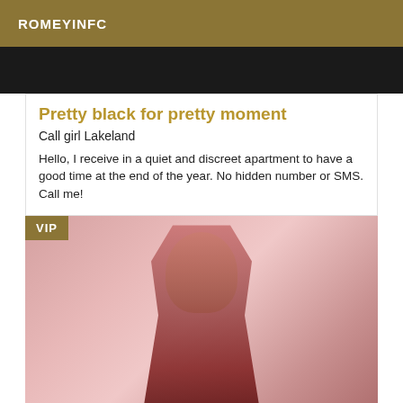ROMEYINFC
[Figure (photo): Dark top portion of a photo, appearing to be a person in low light]
Pretty black for pretty moment
Call girl Lakeland
Hello, I receive in a quiet and discreet apartment to have a good time at the end of the year. No hidden number or SMS. Call me!
[Figure (photo): Photo of a blonde woman wearing sunglasses and a red outfit, with VIP badge in corner]